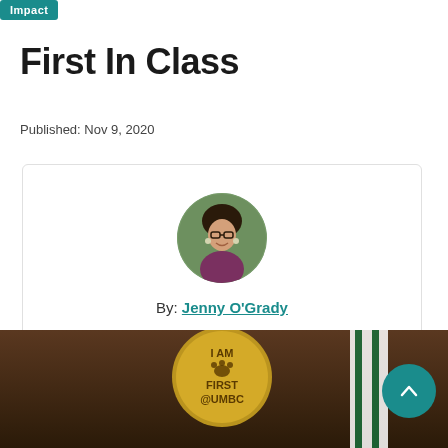Impact
First In Class
Published: Nov 9, 2020
[Figure (photo): Author card with circular portrait photo of Jenny O'Grady, a woman with glasses and short dark hair, smiling. Below the photo: 'By: Jenny O'Grady']
[Figure (photo): Bottom photo strip showing a gold button/pin reading 'I AM FIRST @UMBC' with a paw print, a green and white stole/lanyard, and a dark wooden background. A teal circular back-to-top button is visible at bottom right.]